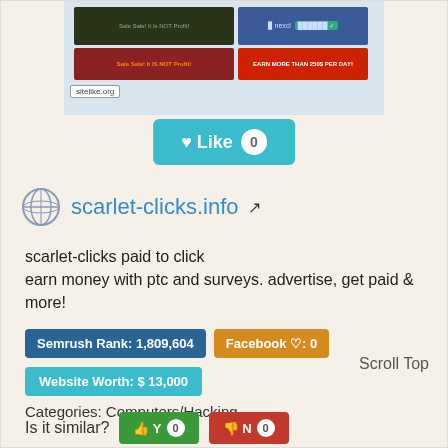[Figure (screenshot): Screenshot of website advertisement banners from sitelike.org showing two rows of ad blocks]
[Figure (other): Teal Like button with heart icon and count of 0]
scarlet-clicks.info (external link icon)
scarlet-clicks paid to click
earn money with ptc and surveys. advertise, get paid & more!
Semrush Rank: 1,809,604
Facebook ♡: 0
Scroll Top
Website Worth: $ 13,000
Categories: Computers/Hacking, Computers/Internet/On the Web, Arts/Visual Arts, Web Ads, Advertising
Is it similar?